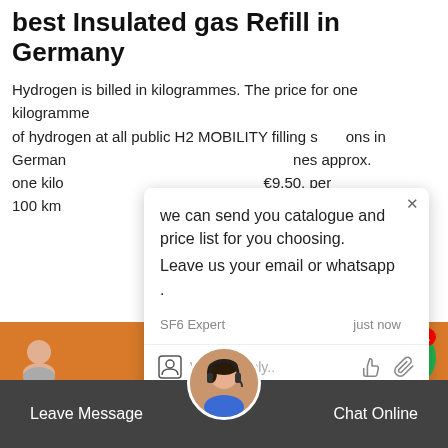best Insulated gas Refill in Germany
Hydrogen is billed in kilogrammes. The price for one kilogramme of hydrogen at all public H2 MOBILITY filling stations in Germany comes approx. one kilo €9.50, per 100 km
[Figure (screenshot): Chat popup with message: 'we can send you catalogue and price list for you choosing. Leave us your email or whatsapp .' from SF6 Expert, just now. Below: reply bar with 'Write a reply..' placeholder and thumbs up / paperclip icons.]
[Figure (photo): RA912 SF6 Gas Analyzer product image and description: 'For determining the quality of SF6 gas.']
RA912 SF6 Gas Analyzer
For determining the quality of SF6 gas.
Leave Message   Chat Online